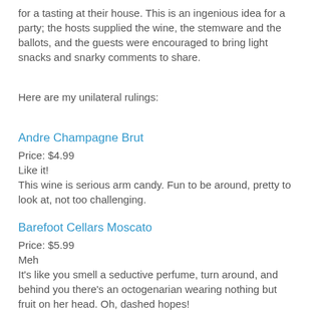for a tasting at their house. This is an ingenious idea for a party; the hosts supplied the wine, the stemware and the ballots, and the guests were encouraged to bring light snacks and snarky comments to share.
Here are my unilateral rulings:
Andre Champagne Brut
Price: $4.99
Like it!
This wine is serious arm candy. Fun to be around, pretty to look at, not too challenging.
Barefoot Cellars Moscato
Price: $5.99
Meh
It's like you smell a seductive perfume, turn around, and behind you there's an octogenarian wearing nothing but fruit on her head. Oh, dashed hopes!